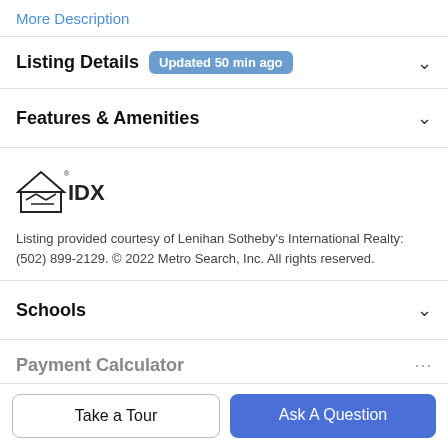More Description
Listing Details Updated 50 min ago
Features & Amenities
[Figure (logo): IDX logo — house outline with handshake and IDX text]
Listing provided courtesy of Lenihan Sotheby's International Realty: (502) 899-2129. © 2022 Metro Search, Inc. All rights reserved.
Schools
Payment Calculator
Take a Tour
Ask A Question